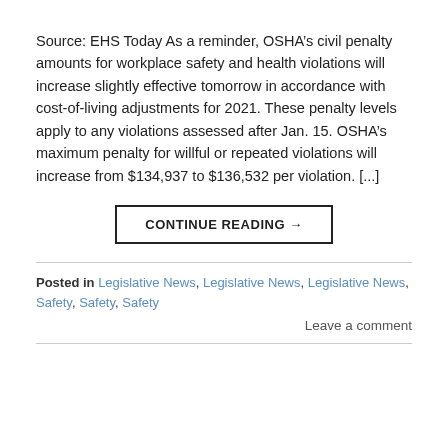Source: EHS Today As a reminder, OSHA’s civil penalty amounts for workplace safety and health violations will increase slightly effective tomorrow in accordance with cost-of-living adjustments for 2021. These penalty levels apply to any violations assessed after Jan. 15. OSHA’s maximum penalty for willful or repeated violations will increase from $134,937 to $136,532 per violation. [...]
CONTINUE READING →
Posted in Legislative News, Legislative News, Legislative News, Safety, Safety, Safety
Leave a comment